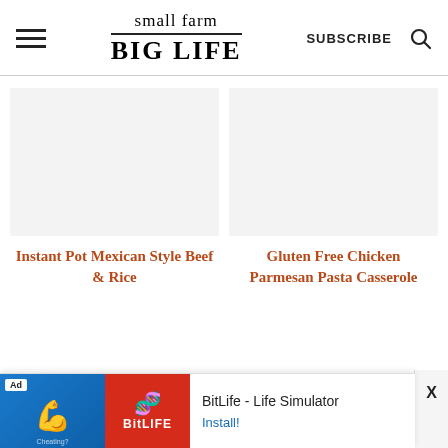small farm BIG LIFE | SUBSCRIBE
[Figure (other): Placeholder image area for Instant Pot Mexican Style Beef & Rice recipe card (white/light grey)]
Instant Pot Mexican Style Beef & Rice
[Figure (other): Placeholder image area for Gluten Free Chicken Parmesan Pasta Casserole recipe card (white/light grey)]
Gluten Free Chicken Parmesan Pasta Casserole
[Figure (other): Advertisement banner: BitLife - Life Simulator app ad with blue panel showing arm emoji, red panel with BitLife logo, and Install button]